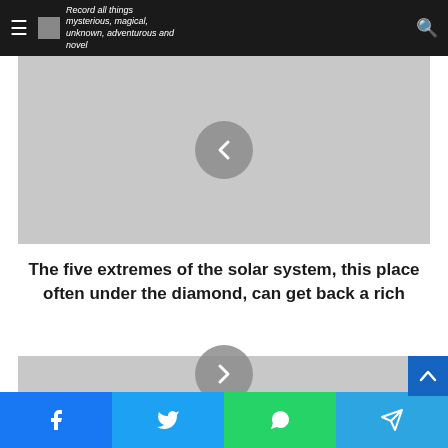Record all things mysterious, magical, unknown, adventurous and novel
[Figure (screenshot): Gray image placeholder with a left-pointing chevron navigation button in a semi-transparent circle]
The five extremes of the solar system, this place often under the diamond, can get back a rich
[Figure (screenshot): Gray image placeholder with a right-pointing chevron navigation button in a semi-transparent circle]
Facebook | Twitter | WhatsApp | Telegram share buttons